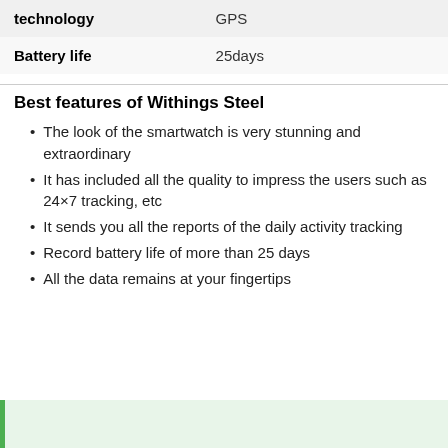| technology | GPS |
| Battery life | 25days |
Best features of Withings Steel
The look of the smartwatch is very stunning and extraordinary
It has included all the quality to impress the users such as 24×7 tracking, etc
It sends you all the reports of the daily activity tracking
Record battery life of more than 25 days
All the data remains at your fingertips